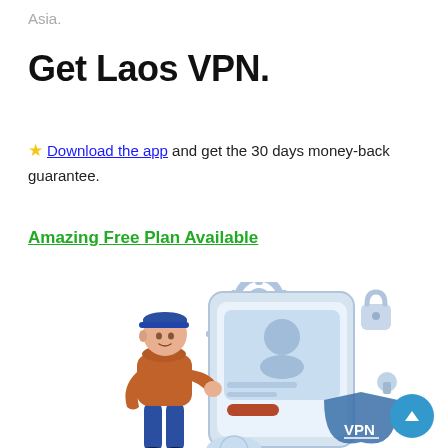Asia.
Get Laos VPN.
⭐ Download the app and get the 30 days money-back guarantee.
Amazing Free Plan Available
[Figure (illustration): Illustration of a person in a blue cap and orange hoodie interacting with a large smartphone showing a profile/ID card. Behind the phone are gear icons. To the right is a padlock, a shield with 'VPN' text, and a globe icon at the bottom. The color scheme is blue, white, and light grey.]